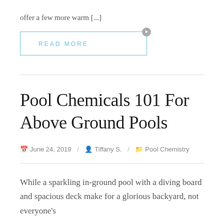offer a few more warm [...]
[Figure (other): READ MORE button with light blue border and arrow circle icon]
Pool Chemicals 101 For Above Ground Pools
June 24, 2019 / Tiffany S. / Pool Chemistry
While a sparkling in-ground pool with a diving board and spacious deck make for a glorious backyard, not everyone's